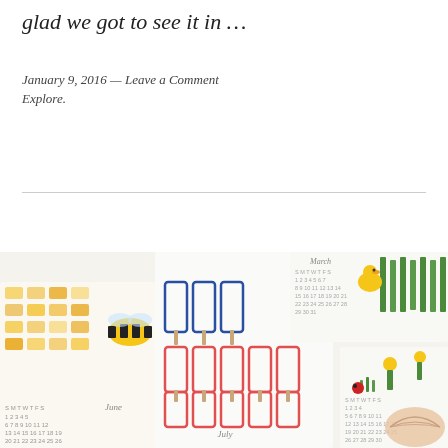glad we got to see it in …
January 9, 2016 — Leave a Comment
Explore.
[Figure (photo): Colorful illustrated calendar cards spread on a surface, featuring seasonal illustrations including a bee, popsicles, flowers, and shells, with calendar grids for months including March, June, July, and April.]